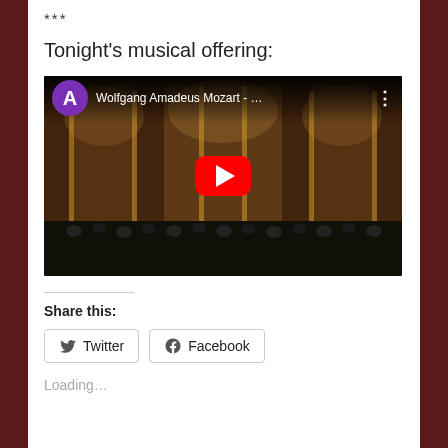***
Tonight's musical offering:
[Figure (screenshot): YouTube video embed showing 'Wolfgang Amadeus Mozart - ...' with a purple avatar letter A, red play button, and an orchestra/choir in an ornate baroque concert hall in the background.]
Share this:
Twitter
Facebook
Loading...